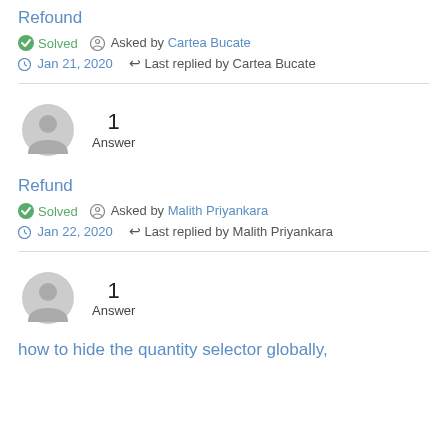Refound
✅ Solved  🔘 Asked by Cartea Bucate
🕐 Jan 21, 2020   ↩ Last replied by Cartea Bucate
[Figure (illustration): Gray avatar icon with number 1 and label Answer]
Refund
✅ Solved  🔘 Asked by Malith Priyankara
🕐 Jan 22, 2020   ↩ Last replied by Malith Priyankara
[Figure (illustration): Gray avatar icon with number 1 and label Answer]
how to hide the quantity selector globally,